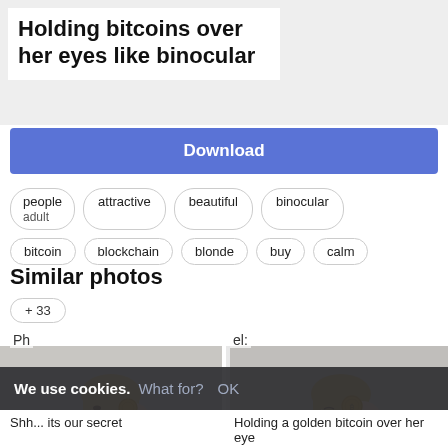Holding bitcoins over her eyes like binocular
Download
people
adult
attractive
beautiful
binocular
bitcoin
blockchain
blonde
buy
calm
Similar photos
+ 33
Ph
el:
[Figure (photo): Blonde woman holding a bitcoin coin over her eye, wearing white shirt, finger to lips in shh gesture]
[Figure (photo): Blonde woman holding a golden bitcoin coin over her eye, wearing white shirt]
We use cookies. What for? OK
Shh... its our secret
Holding a golden bitcoin over her eye